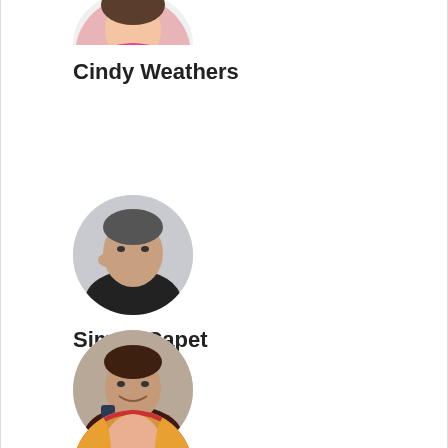[Figure (photo): Circular avatar photo of Cindy Weathers - partial view at top of page, person wearing pink]
Cindy Weathers
[Figure (photo): Circular avatar photo of Simon Capet - man in dark shirt, appears to be gesturing]
Simon Capet
[Figure (photo): Circular avatar photo of Steve Pav - man in dark shirt holding a drink, smiling]
Steve Pav
[Figure (photo): Circular avatar photo - person with long blonde/red hair, smiling, partially visible at bottom]